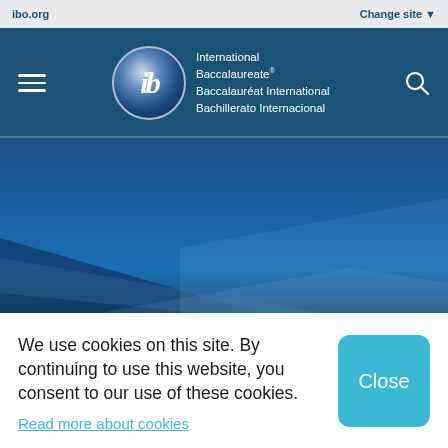ibo.org
Change site ▼
[Figure (logo): International Baccalaureate logo with globe icon and three-language name: International Baccalaureate, Baccalauréat International, Bachillerato Internacional]
[Figure (photo): Deep blue hero banner with geometric angular shapes in lighter blue tones]
We use cookies on this site. By continuing to use this website, you consent to our use of these cookies.
Read more about cookies
Close